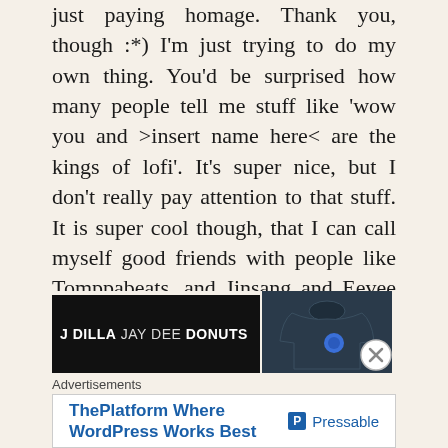just paying homage. Thank you, though :*) I'm just trying to do my own thing. You'd be surprised how many people tell me stuff like 'wow you and >insert name here< are the kings of lofi'. It's super nice, but I don't really pay attention to that stuff. It is super cool though, that I can call myself good friends with people like Tomppabeats, and Jinsang and Eevee and Idealism. Also, some of the cats from the Brainfeeder and Chillhop Records crews! All of which are also heavily inspired by Dilla and Seba. Those are all pioneers of their own vein, and if you don't know, you absolutely should.
[Figure (other): Advertisement showing J Dilla Jay Dee Donuts album cover (black background with white text) and a dark navy t-shirt with a small blue graphic. A close/X button appears at the right.]
Advertisements
[Figure (other): Advertisement banner for Pressable: 'ThePlatform Where WordPress Works Best' with Pressable logo on the right]